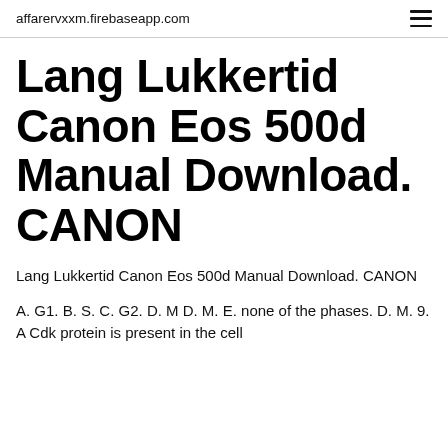affarervxxm.firebaseapp.com
Lang Lukkertid Canon Eos 500d Manual Download. CANON
Lang Lukkertid Canon Eos 500d Manual Download. CANON
A. G1. B. S. C. G2. D. M D. M. E. none of the phases. D. M. 9. A Cdk protein is present in the cell